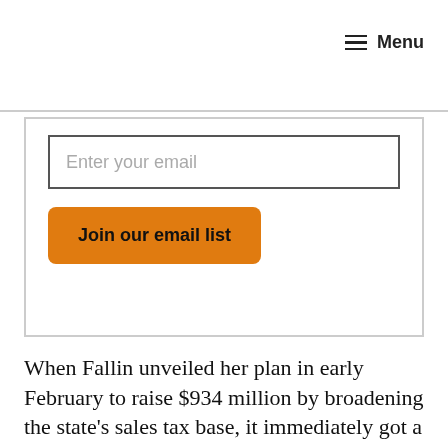≡ Menu
Enter your email
Join our email list
When Fallin unveiled her plan in early February to raise $934 million by broadening the state's sales tax base, it immediately got a cold reception from both Democrats and her own party.